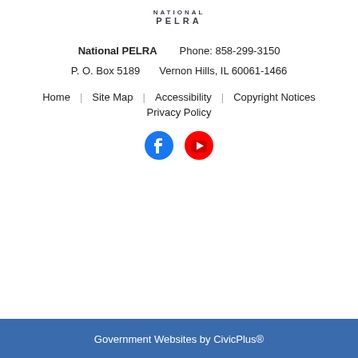[Figure (logo): National PELRA logo with text 'NATIONAL PELRA']
National PELRA    Phone: 858-299-3150
P. O. Box 5189    Vernon Hills, IL 60061-1466
Home  |  Site Map  |  Accessibility  |  Copyright Notices  |  Privacy Policy
[Figure (illustration): Facebook and YouTube social media icons]
Government Websites by CivicPlus®